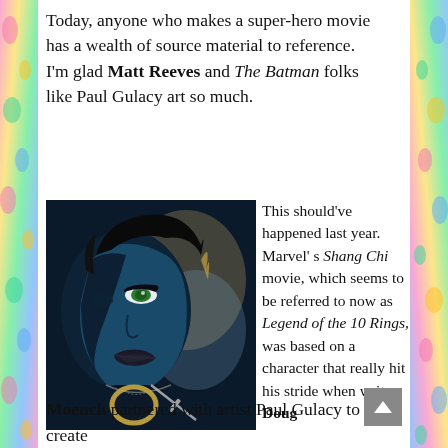Today, anyone who makes a super-hero movie has a wealth of source material to reference. I'm glad Matt Reeves and The Batman folks like Paul Gulacy art so much.
[Figure (illustration): Comic book style illustration of a dark female character with green eyes, dark hair, black costume, and ornate jewelry/accessories against a dark blue shadowed background.]
This should've happened last year. Marvel's Shang Chi movie, which seems to be referred to now as Legend of the 10 Rings, was based on a character that really hit his stride when writer Doug Moench partnered with artist Paul Gulacy to create